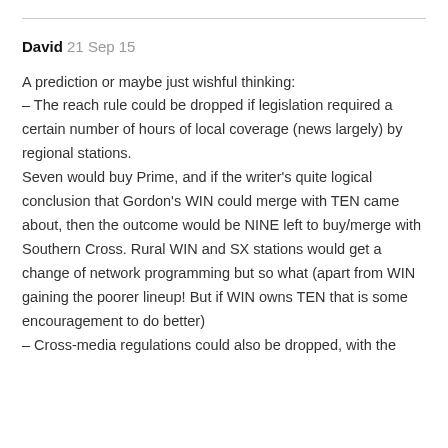David 21 Sep 15
A prediction or maybe just wishful thinking:
– The reach rule could be dropped if legislation required a certain number of hours of local coverage (news largely) by regional stations.
Seven would buy Prime, and if the writer's quite logical conclusion that Gordon's WIN could merge with TEN came about, then the outcome would be NINE left to buy/merge with Southern Cross. Rural WIN and SX stations would get a change of network programming but so what (apart from WIN gaining the poorer lineup! But if WIN owns TEN that is some encouragement to do better)
– Cross-media regulations could also be dropped, with the